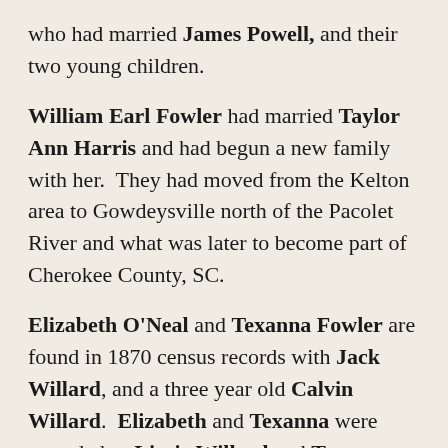who had married James Powell, and their two young children.
William Earl Fowler had married Taylor Ann Harris and had begun a new family with her. They had moved from the Kelton area to Gowdeysville north of the Pacolet River and what was later to become part of Cherokee County, SC.
Elizabeth O'Neal and Texanna Fowler are found in 1870 census records with Jack Willard, and a three year old Calvin Willard. Elizabeth and Texanna were recorded as Lizzie Willard and Texanna Willard.
Bradley Sevier Johnson (1866–1919) was the son of